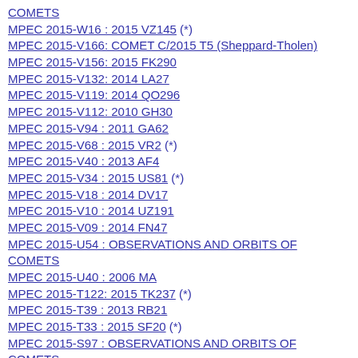COMETS
MPEC 2015-W16 : 2015 VZ145 (*)
MPEC 2015-V166: COMET C/2015 T5 (Sheppard-Tholen)
MPEC 2015-V156: 2015 FK290
MPEC 2015-V132: 2014 LA27
MPEC 2015-V119: 2014 QO296
MPEC 2015-V112: 2010 GH30
MPEC 2015-V94 : 2011 GA62
MPEC 2015-V68 : 2015 VR2 (*)
MPEC 2015-V40 : 2013 AF4
MPEC 2015-V34 : 2015 US81 (*)
MPEC 2015-V18 : 2014 DV17
MPEC 2015-V10 : 2014 UZ191
MPEC 2015-V09 : 2014 FN47
MPEC 2015-U54 : OBSERVATIONS AND ORBITS OF COMETS
MPEC 2015-U40 : 2006 MA
MPEC 2015-T122: 2015 TK237 (*)
MPEC 2015-T39 : 2013 RB21
MPEC 2015-T33 : 2015 SF20 (*)
MPEC 2015-S97 : OBSERVATIONS AND ORBITS OF COMETS
MPEC 2015-S79 : 2011 EF15
MPEC 2015-S75 : 2013 EW108
MPEC 2015-S57 : 2015 RR150 (*)
MPEC 2015-S56 : 2015 RQ150 (*)